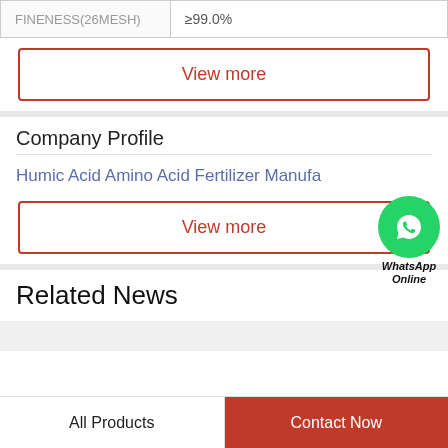| Property | Value |
| --- | --- |
| FINENESS(26MESH) | ≥99.0% |
View more
Company Profile
Humic Acid Amino Acid Fertilizer Manufa
[Figure (illustration): WhatsApp Online widget with green phone icon circle and text 'WhatsApp Online']
View more
Related News
All Products | Contact Now